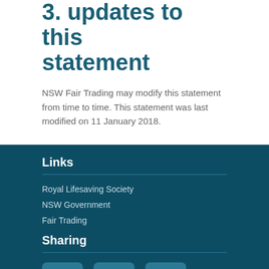3. updates to this statement
NSW Fair Trading may modify this statement from time to time. This statement was last modified on 11 January 2018.
Links
Royal Lifesaving Society
NSW Government
Fair Trading
Sharing
[Figure (illustration): Three social media icons: Twitter bird icon, Facebook f icon, Google+ icon, displayed in rounded square boxes]
© Copyright 2013 NSW Government Privacy Statement